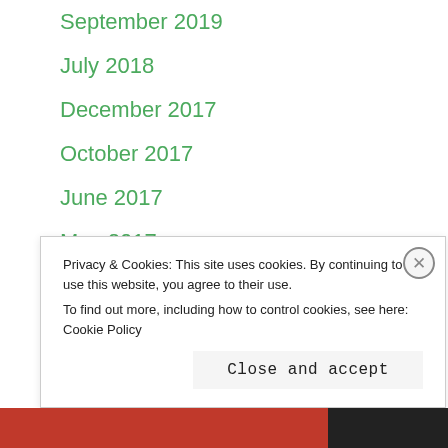September 2019
July 2018
December 2017
October 2017
June 2017
May 2017
April 2017
March 2017
February 2017
January 2017
December 2016
November 2016
August 2016
Privacy & Cookies: This site uses cookies. By continuing to use this website, you agree to their use.
To find out more, including how to control cookies, see here: Cookie Policy
Close and accept